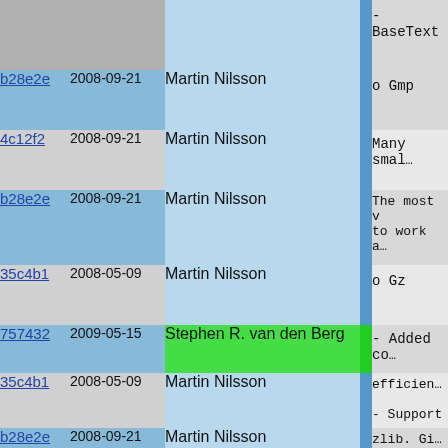| hash | date | author |  | content |
| --- | --- | --- | --- | --- |
|  |  |  |  | - BaseText |
| b28e2e | 2008-09-21 | Martin Nilsson |  | o Gmp |
| 4c12f2 | 2008-09-21 | Martin Nilsson |  | Many smal… |
| b28e2e | 2008-09-21 | Martin Nilsson |  | The most v… to work a… |
| 35c4b1 | 2008-05-09 | Martin Nilsson |  | o Gz |
| 757432 | 2009-05-15 | Stephen R. van den Berg |  | - Added co… |
| 35c4b1 | 2008-05-09 | Martin Nilsson |  | efficien…
- Support |
| b28e2e | 2008-09-21 | Martin Nilsson |  | zlib. Gi… compress… |
| 35c4b1 | 2008-05-09 | Martin Nilsson |  |  |
| b28e2e | 2008-09-21 | Martin Nilsson |  | - Added su… the las… inflate… |
| 35c4b1 | 2008-05-09 | Martin Nilsson |  | o Image.Col… |
| c12ed4 | 2008-06-29 | Martin Nilsson |  | The new… |